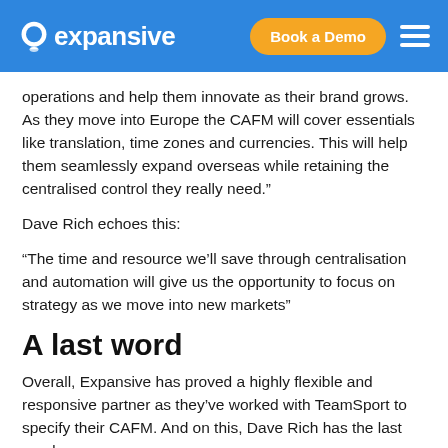expansive | Book a Demo
operations and help them innovate as their brand grows. As they move into Europe the CAFM will cover essentials like translation, time zones and currencies. This will help them seamlessly expand overseas while retaining the centralised control they really need.”
Dave Rich echoes this:
“The time and resource we’ll save through centralisation and automation will give us the opportunity to focus on strategy as we move into new markets”
A last word
Overall, Expansive has proved a highly flexible and responsive partner as they’ve worked with TeamSport to specify their CAFM. And on this, Dave Rich has the last word:
“We wanted more of a personalised service from our FM partner, rather than just buying an off the shelf piece of